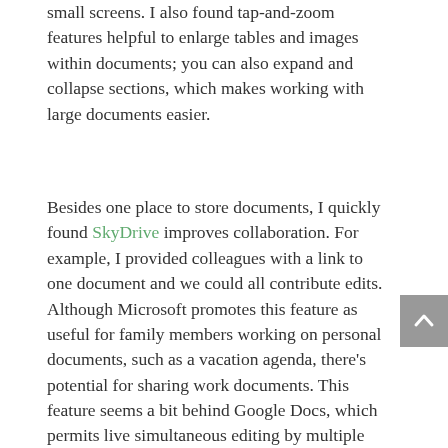small screens. I also found tap-and-zoom features helpful to enlarge tables and images within documents; you can also expand and collapse sections, which makes working with large documents easier.
Besides one place to store documents, I quickly found SkyDrive improves collaboration. For example, I provided colleagues with a link to one document and we could all contribute edits. Although Microsoft promotes this feature as useful for family members working on personal documents, such as a vacation agenda, there’s potential for sharing work documents. This feature seems a bit behind Google Docs, which permits live simultaneous editing by multiple people. In the case of Word, you have to save your document before you can see edits by others – but that’s a slight inconvenience given the superior formatting and other features of Word.